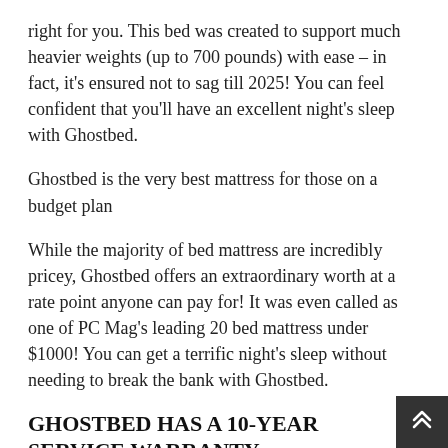right for you. This bed was created to support much heavier weights (up to 700 pounds) with ease – in fact, it's ensured not to sag till 2025! You can feel confident that you'll have an excellent night's sleep with Ghostbed.
Ghostbed is the very best mattress for those on a budget plan
While the majority of bed mattress are incredibly pricey, Ghostbed offers an extraordinary worth at a rate point anyone can pay for! It was even called as one of PC Mag's leading 20 bed mattress under $1000! You can get a terrific night's sleep without needing to break the bank with Ghostbed.
GHOSTBED HAS A 10-YEAR SERVICE WARRANTY
This is a longer guarantee than many mattresses